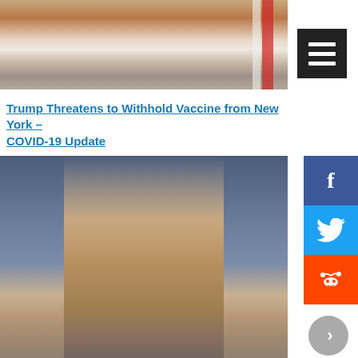[Figure (photo): Partial photo of a smiling man in a dark suit with a red/white flag visible on the right side, cropped at the top of the page.]
Trump Threatens to Withhold Vaccine from New York – COVID-19 Update
[Figure (photo): A man in a dark blazer and plaid shirt speaking at a podium with a microphone, in front of a dark blue curtain.]
Ryan Warns of Second Wave as Hospitalizations Rise to